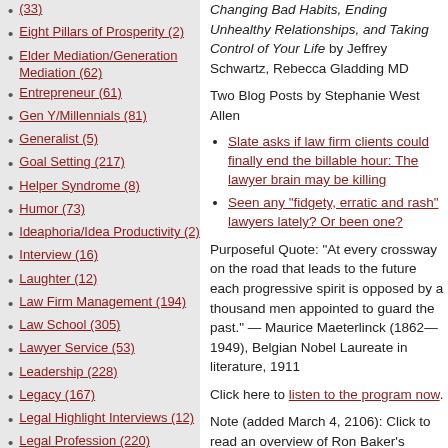(33)
Eight Pillars of Prosperity (2)
Elder Mediation/Generation Mediation (62)
Entrepreneur (61)
Gen Y/Millennials (81)
Generalist (5)
Goal Setting (217)
Helper Syndrome (8)
Humor (73)
Ideaphoria/Idea Productivity (2)
Interview (16)
Laughter (12)
Law Firm Management (194)
Law School (305)
Lawyer Service (53)
Leadership (228)
Legacy (167)
Legal Highlight Interviews (12)
Legal Profession (220)
Legal System (126)
Life After Law (71)
Lighter Wisdom (25)
Management (226)
Changing Bad Habits, Ending Unhealthy Relationships, and Taking Control of Your Life by Jeffrey Schwartz, Rebecca Gladding MD
Two Blog Posts by Stephanie West Allen
Slate asks if law firm clients could finally end the billable hour: The lawyer brain may be killing
Seen any "fidgety, erratic and rash" lawyers lately? Or been one?
Purposeful Quote: "At every crossway on the road that leads to the future each progressive spirit is opposed by a thousand men appointed to guard the past." — Maurice Maeterlinck (1862—1949), Belgian Nobel Laureate in literature, 1911
Click here to listen to the program now.
Note (added March 4, 2106): Click to read an overview of Ron Baker's approach to value pricing process... on Purpose: How to Implement Value Pricing in... (Journal of Accountancy).
Posted by StephanieWestAllen on March 03, 2016 at 06... Client Relations, Coaching, Practice of...